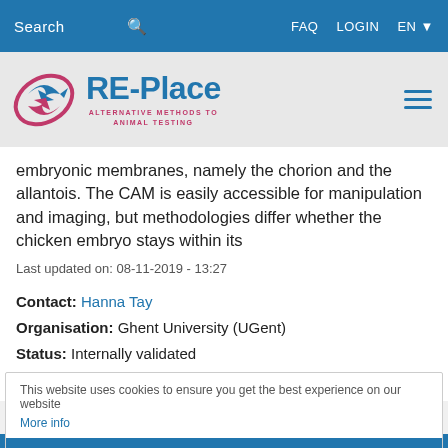Search  FAQ  LOGIN  EN
[Figure (logo): RE-Place logo with circular arrow graphic and text 'ALTERNATIVE METHODS TO ANIMAL TESTING']
embryonic membranes, namely the chorion and the allantois. The CAM is easily accessible for manipulation and imaging, but methodologies differ whether the chicken embryo stays within its
Last updated on: 08-11-2019 - 13:27
Contact: Hanna Tay
Organisation: Ghent University (UGent)
Status: Internally validated
Download PDF
This website uses cookies to ensure you get the best experience on our website
More info
GOT IT!